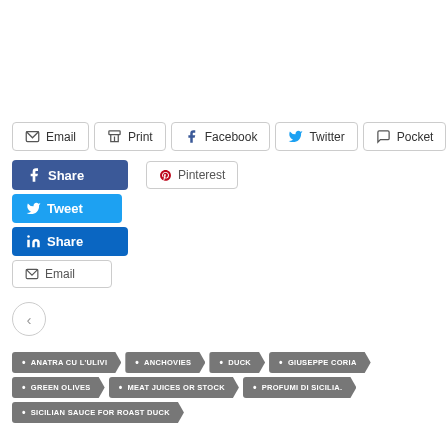[Figure (screenshot): Social share buttons row: Email, Print, Facebook, Twitter, Pocket]
[Figure (screenshot): Social media overlay buttons: Facebook Share, Pinterest, Twitter Tweet, LinkedIn Share, Email]
[Figure (screenshot): Back navigation button (left chevron in circle)]
ANATRA CU L'ULIVI
ANCHOVIES
DUCK
GIUSEPPE CORIA
GREEN OLIVES
MEAT JUICES OR STOCK
PROFUMI DI SICILIA.
SICILIAN SAUCE FOR ROAST DUCK